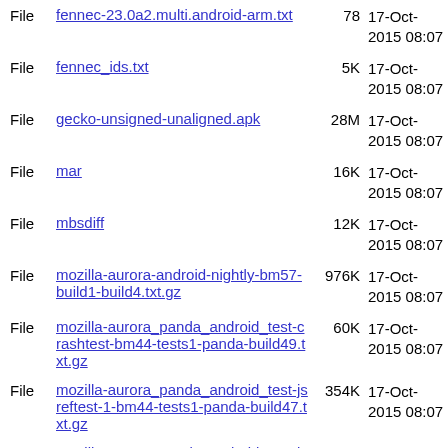File  fennec-23.0a2.multi.android-arm.txt  78  17-Oct-2015 08:07
File  fennec_ids.txt  5K  17-Oct-2015 08:07
File  gecko-unsigned-unaligned.apk  28M  17-Oct-2015 08:07
File  mar  16K  17-Oct-2015 08:07
File  mbsdiff  12K  17-Oct-2015 08:07
File  mozilla-aurora-android-nightly-bm57-build1-build4.txt.gz  976K  17-Oct-2015 08:07
File  mozilla-aurora_panda_android_test-crashtest-bm44-tests1-panda-build49.txt.gz  60K  17-Oct-2015 08:07
File  mozilla-aurora_panda_android_test-jsreftest-1-bm44-tests1-panda-build47.txt.gz  354K  17-Oct-2015 08:07
File  mozilla-aurora_panda_android_test-jsreftest-2-bm44-tests1-panda-build47.txt.gz  91K  17-Oct-2015 08:07
File  mozilla-aurora_panda_android_test-jsreftest-3-bm44-tests1-panda-build51.txt.gz  64K  17-Oct-2015 08:07